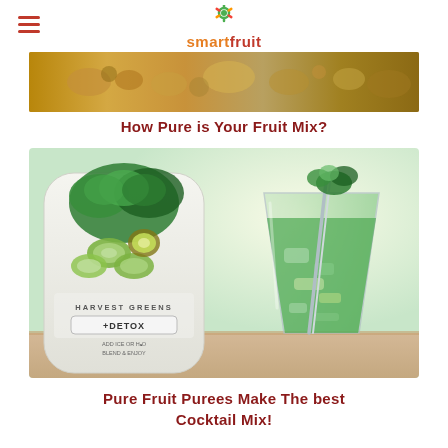smartfruit
[Figure (photo): Top banner image showing dried fruits and nuts]
How Pure is Your Fruit Mix?
[Figure (photo): Harvest Greens +Detox product pouch next to a green cocktail/smoothie drink in a glass with a straw and herbs]
Pure Fruit Purees Make The best Cocktail Mix!